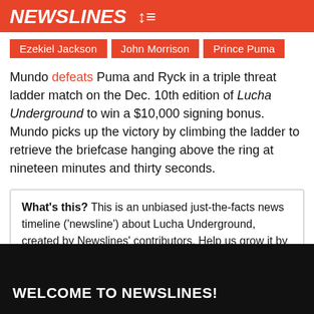NEWSLINES
Ezekiel Jackson
John Morrison
Prince Puma
Mundo defeats Puma and Ryck in a triple threat ladder match on the Dec. 10th edition of Lucha Underground to win a $10,000 signing bonus. Mundo picks up the victory by climbing the ladder to retrieve the briefcase hanging above the ring at nineteen minutes and thirty seconds.
What's this? This is an unbiased just-the-facts news timeline ('newsline') about Lucha Underground, created by Newslines' contributors. Help us grow it by finding and summarising news. Learn more
WELCOME TO NEWSLINES!